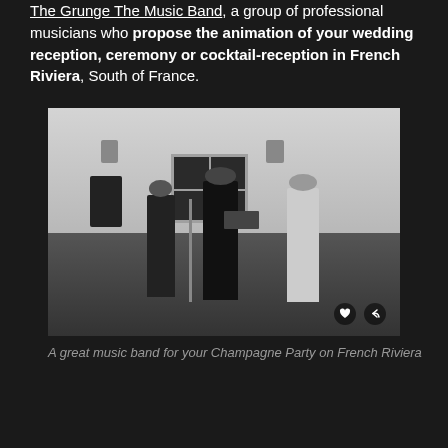The Grunge The Music Band, a group of professional musicians who propose the animation of your wedding reception, ceremony or cocktail-reception in French Riviera, South of France.
[Figure (photo): Black and white outdoor photo of a music band performing, with a female vocalist in the center holding a microphone, a guitarist on the right, another musician on the left, speaker equipment visible, lantern wall lights, and a white-shuttered building in the background. Heart and share icons visible in the bottom right corner.]
A great music band for your Champagne Party on French Riviera